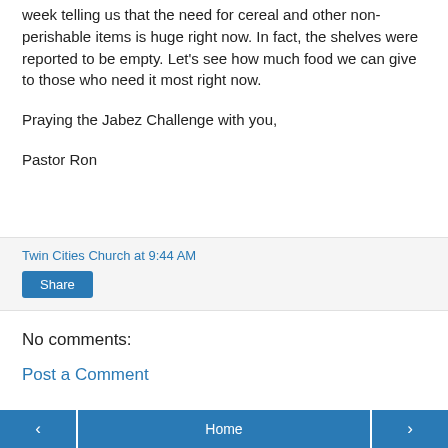week telling us that the need for cereal and other non-perishable items is huge right now. In fact, the shelves were reported to be empty. Let's see how much food we can give to those who need it most right now.
Praying the Jabez Challenge with you,
Pastor Ron
Twin Cities Church at 9:44 AM
Share
No comments:
Post a Comment
‹  Home  ›